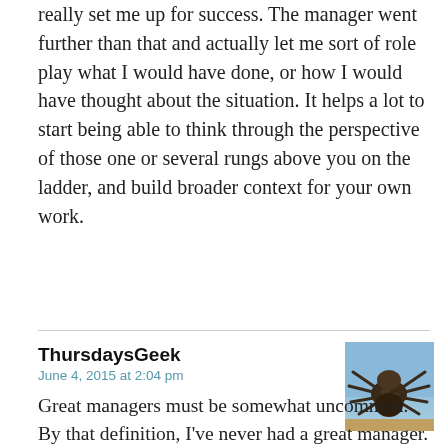really set me up for success. The manager went further than that and actually let me sort of role play what I would have done, or how I would have thought about the situation. It helps a lot to start being able to think through the perspective of those one or several rungs above you on the ladder, and build broader context for your own work.
ThursdaysGeek
June 4, 2015 at 2:04 pm
Great managers must be somewhat uncommon. By that definition, I’ve never had a great manager.
▼ Collapse 1 reply
JustMe
June 4, 2015 at 2:54 pm
ThursdaysGeek, I concur. Alison is stellar and I wish every manager conducted business the way she does. 9/10